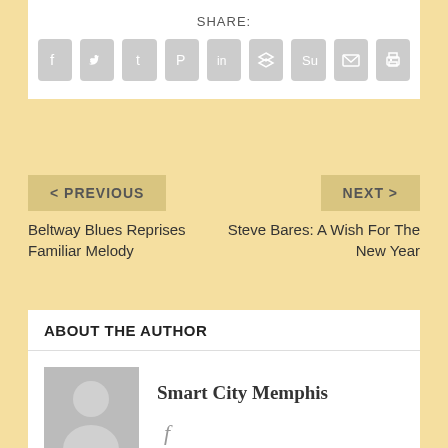SHARE:
[Figure (other): Row of social media sharing icon buttons: Facebook, Twitter, Tumblr, Pinterest, LinkedIn, Buffer, StumbleUpon, Email, Print]
< PREVIOUS
Beltway Blues Reprises Familiar Melody
NEXT >
Steve Bares: A Wish For The New Year
ABOUT THE AUTHOR
[Figure (illustration): Generic grey silhouette avatar placeholder image]
Smart City Memphis
[Figure (logo): Facebook icon 'f' link]